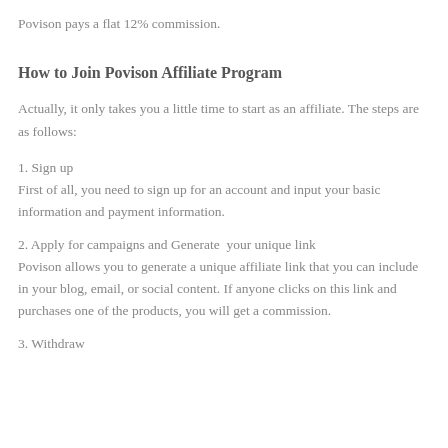Povison pays a flat 12% commission.
How to Join Povison Affiliate Program
Actually, it only takes you a little time to start as an affiliate. The steps are as follows:
1. Sign up
First of all, you need to sign up for an account and input your basic information and payment information.
2. Apply for campaigns and Generate  your unique link
Povison allows you to generate a unique affiliate link that you can include in your blog, email, or social content. If anyone clicks on this link and purchases one of the products, you will get a commission.
3. Withdraw